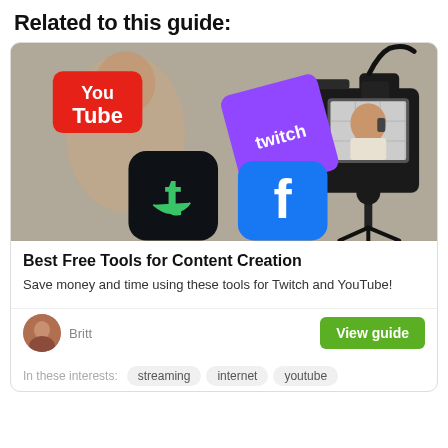Related to this guide:
[Figure (photo): Photo of a person with a DSLR camera on a tripod, overlaid with logos: YouTube (red), Twitch (purple), a green chameleon/Streamlabs app icon (dark rounded square), and Facebook (blue rounded square). A woman smiling is visible on the camera screen.]
Best Free Tools for Content Creation
Save money and time using these tools for Twitch and YouTube!
Britt
View guide
In these interests:  streaming  internet  youtube